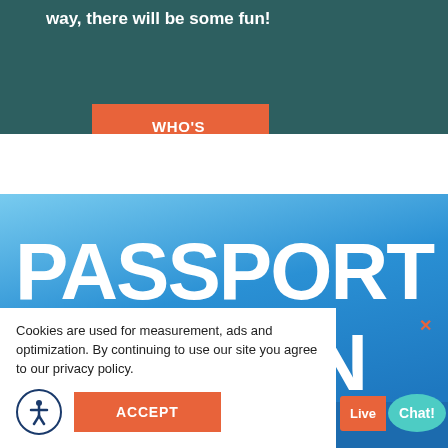way, there will be some fun!
WHO'S JULIO?
[Figure (illustration): Blue sky background with large white bold text reading PASSPORT TO FUN]
Cookies are used for measurement, ads and optimization. By continuing to use our site you agree to our privacy policy.
ACCEPT